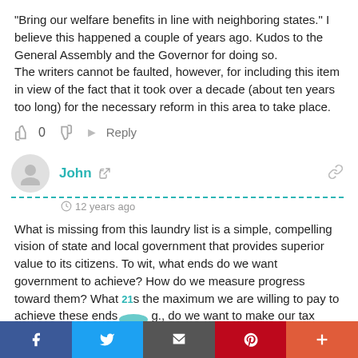“Bring our welfare benefits in line with neighboring states.” I believe this happened a couple of years ago. Kudos to the General Assembly and the Governor for doing so. The writers cannot be faulted, however, for including this item in view of the fact that it took over a decade (about ten years too long) for the necessary reform in this area to take place.
0   Reply
John   12 years ago
What is missing from this laundry list is a simple, compelling vision of state and local government that provides superior value to its citizens. To wit, what ends do we want government to achieve? How do we measure progress toward them? What is the maximum we are willing to pay to achieve these ends (e.g., do we want to make our tax burden per $1,000 of